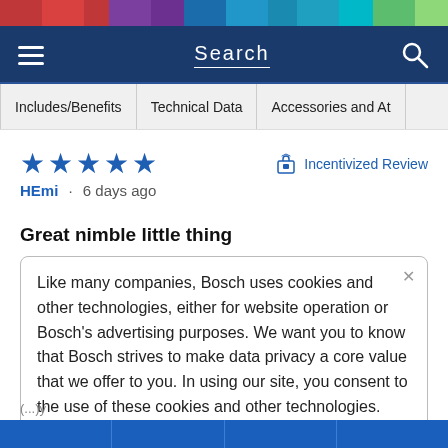Search
Includes/Benefits  Technical Data  Accessories and At
★★★★★  HEmi · 6 days ago   Incentivized Review
Great nimble little thing
Like many companies, Bosch uses cookies and other technologies, either for website operation or Bosch's advertising purposes. We want you to know that Bosch strives to make data privacy a core value that we offer to you. In using our site, you consent to the use of these cookies and other technologies. Change your preferences.